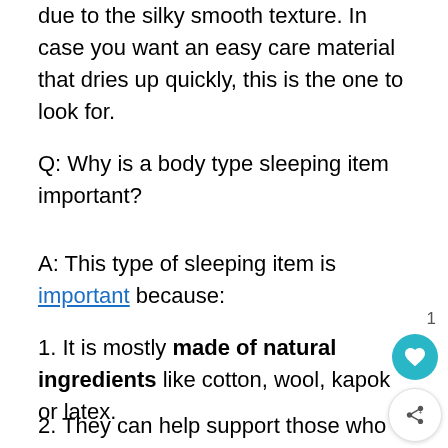due to the silky smooth texture. In case you want an easy care material that dries up quickly, this is the one to look for.
Q: Why is a body type sleeping item important?
A: This type of sleeping item is important because:
1. It is mostly made of natural ingredients like cotton, wool, kapok or latex.
2. They can help support those who sleep on their side.